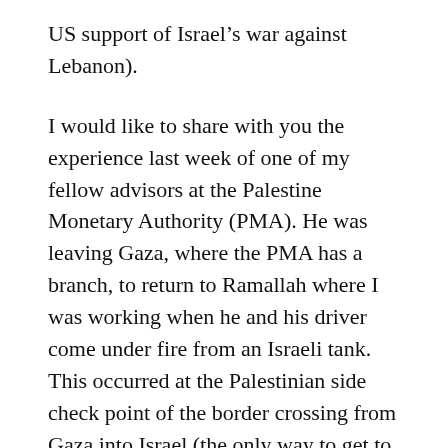US support of Israel’s war against Lebanon).
I would like to share with you the experience last week of one of my fellow advisors at the Palestine Monetary Authority (PMA). He was leaving Gaza, where the PMA has a branch, to return to Ramallah where I was working when he and his driver come under fire from an Israeli tank. This occurred at the Palestinian side check point of the border crossing from Gaza into Israel (the only way to get to the other part of Palestine in the West Bank). The gun fire lasted three hours during which he spoke by phone from the floor of his car to the Governor of the PMA and the U.S. Embassy. He is a fellow American and was born and raised in